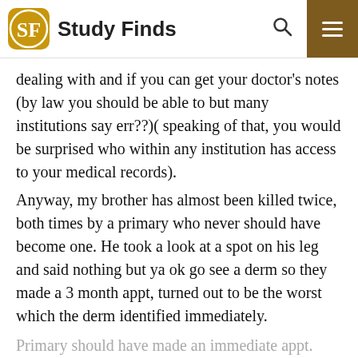Study Finds
dealing with and if you can get your doctor's notes (by law you should be able to but many institutions say err??)(speaking of that, you would be surprised who within any institution has access to your medical records).
Anyway, my brother has almost been killed twice, both times by a primary who never should have become one. He took a look at a spot on his leg and said nothing but ya ok go see a derm so they made a 3 month appt, turned out to be the worst which the derm identified immediately.
Primary should have made an immediate appt. Second time a urologist finds an